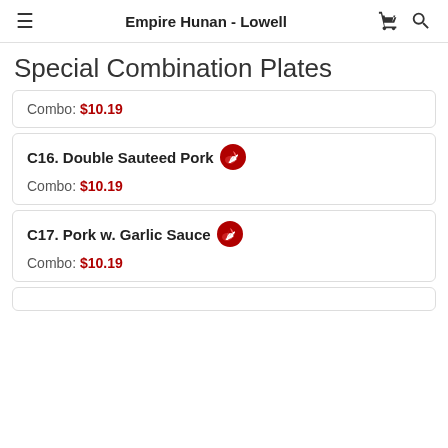Empire Hunan - Lowell
Special Combination Plates
Combo: $10.19
C16. Double Sauteed Pork
Combo: $10.19
C17. Pork w. Garlic Sauce
Combo: $10.19